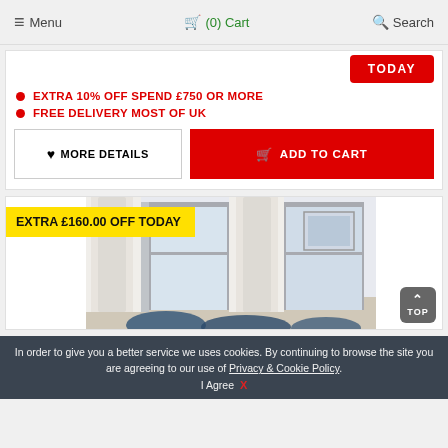Menu | (0) Cart | Search
TODAY
EXTRA 10% OFF SPEND £750 OR MORE
FREE DELIVERY MOST OF UK
MORE DETAILS | ADD TO CART
EXTRA £160.00 OFF TODAY
[Figure (photo): Room interior with white curtains, blue cushions and wall art]
In order to give you a better service we uses cookies. By continuing to browse the site you are agreeing to our use of Privacy & Cookie Policy. I Agree X